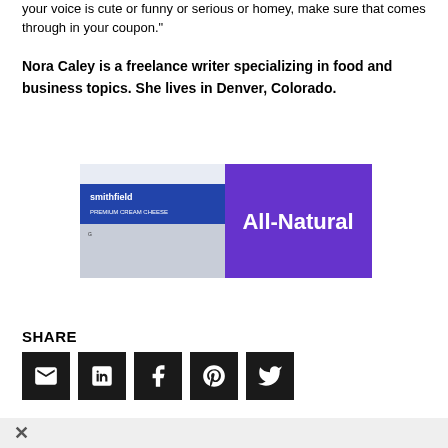your voice is cute or funny or serious or homey, make sure that comes through in your coupon."
Nora Caley is a freelance writer specializing in food and business topics. She lives in Denver, Colorado.
[Figure (photo): Smithfield cream cheese product image on the left half, and purple banner with white text 'All-Natural' on the right half]
SHARE
[Figure (infographic): Five dark square social share buttons: Email (envelope icon), LinkedIn (in icon), Facebook (f icon), Pinterest (P icon), Twitter (bird icon)]
×